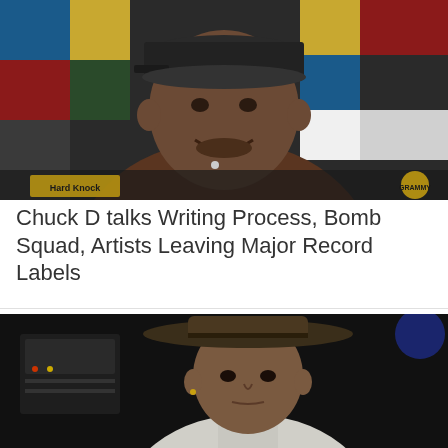[Figure (photo): A man wearing a black baseball cap and brown shirt sitting in front of a colorful geometric background with a Grammy award logo visible. Interview or documentary setting.]
Chuck D talks Writing Process, Bomb Squad, Artists Leaving Major Record Labels
[Figure (photo): A man wearing a wide-brimmed brown hat and light-colored jacket in a dark studio setting, looking directly at camera.]